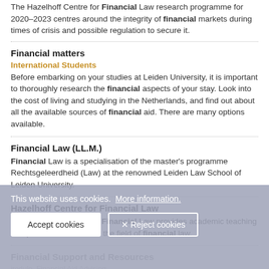The Hazelhoff Centre for Financial Law research programme for 2020–2023 centres around the integrity of financial markets during times of crisis and possible regulation to secure it.
Financial matters
International Students
Before embarking on your studies at Leiden University, it is important to thoroughly research the financial aspects of your stay. Look into the cost of living and studying in the Netherlands, and find out about all the available sources of financial aid. There are many options available.
Financial Law (LL.M.)
Financial Law is a specialisation of the master's programme Rechtsgeleerdheid (Law) at the renowned Leiden Law School of Leiden University.
Hazelhoff Centre for Financial Law
The Hazelhoff Centre for Financial Law provides academic teaching and performs research in the field of financial law.
Financial Support and Resources
This website uses cookies. More information.